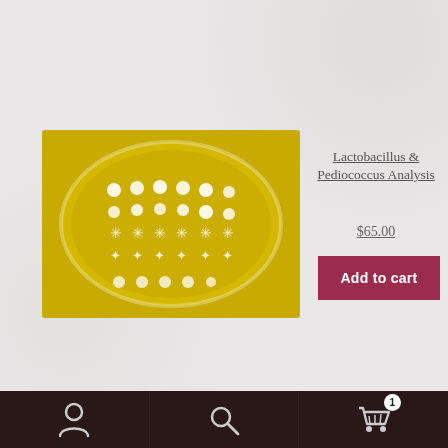[Figure (photo): Petri dish on yellow background showing bacterial colonies arranged in rows, used for Lactobacillus and Pediococcus analysis]
Lactobacillus & Pediococcus Analysis
$65.00
Add to cart
[Figure (schematic): Chemical structural formula of Malic Acid showing carbon chain with two carboxyl groups (C=O) and one hydroxyl group (OH)]
Malic Acid
$24.00
Add to cart
Navigation bar with user icon, search icon, and shopping cart icon with badge showing 1 item